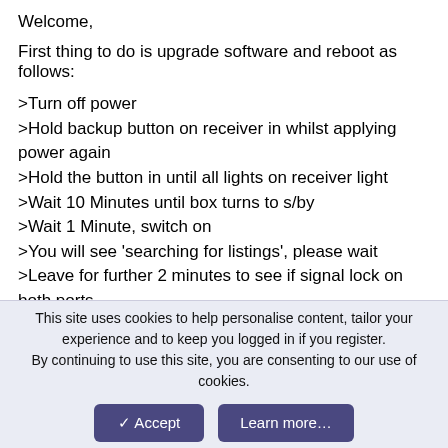Welcome,
First thing to do is upgrade software and reboot as follows:
>Turn off power
>Hold backup button on receiver in whilst applying power again
>Hold the button in until all lights on receiver light
>Wait 10 Minutes until box turns to s/by
>Wait 1 Minute, switch on
>You will see 'searching for listings', please wait
>Leave for further 2 minutes to see if signal lock on both ports.
If not then you may have further problems
Satman 😊
↩ Reply
This site uses cookies to help personalise content, tailor your experience and to keep you logged in if you register.
By continuing to use this site, you are consenting to our use of cookies.